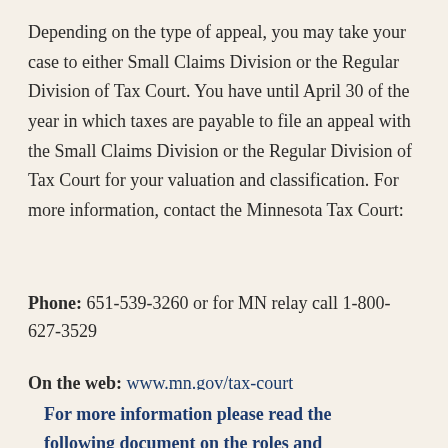Depending on the type of appeal, you may take your case to either Small Claims Division or the Regular Division of Tax Court. You have until April 30 of the year in which taxes are payable to file an appeal with the Small Claims Division or the Regular Division of Tax Court for your valuation and classification. For more information, contact the Minnesota Tax Court:
Phone: 651-539-3260 or for MN relay call 1-800-627-3529
On the web: www.mn.gov/tax-court
For more information please read the following document on the roles and responsibilities of the local and county boards of appeal and equalization in addition to those of the county assessor's office.